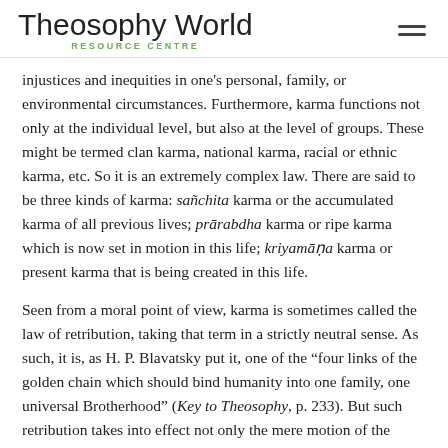Theosophy World RESOURCE CENTRE
injustices and inequities in one's personal, family, or environmental circumstances. Furthermore, karma functions not only at the individual level, but also at the level of groups. These might be termed clan karma, national karma, racial or ethnic karma, etc. So it is an extremely complex law. There are said to be three kinds of karma: sañchita karma or the accumulated karma of all previous lives; prārabdha karma or ripe karma which is now set in motion in this life; kriyamāṇa karma or present karma that is being created in this life.
Seen from a moral point of view, karma is sometimes called the law of retribution, taking that term in a strictly neutral sense. As such, it is, as H. P. Blavatsky put it, one of the "four links of the golden chain which should bind humanity into one family, one universal Brotherhood" (Key to Theosophy, p. 233). But such retribution takes into effect not only the mere motion of the